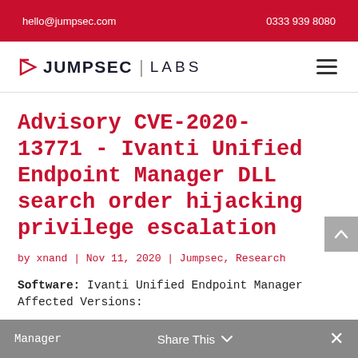hello@jumpsec.com    0333 939 8080
[Figure (logo): Jumpsec Labs logo with navigation hamburger menu]
Advisory CVE-2020-13771 - Ivanti Unified Endpoint Manager DLL search order hijacking privilege escalation
by xnand | Nov 11, 2020 | Jumpsec, Research
Software: Ivanti Unified Endpoint Manager
Affected Versions: